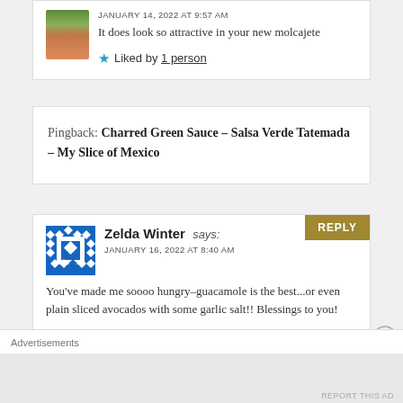JANUARY 14, 2022 AT 9:57 AM
It does look so attractive in your new molcajete
★ Liked by 1 person
Pingback: Charred Green Sauce – Salsa Verde Tatemada – My Slice of Mexico
Zelda Winter says:
JANUARY 16, 2022 AT 8:40 AM
You've made me soooo hungry–guacamole is the best...or even plain sliced avocados with some garlic salt!! Blessings to you!
Advertisements
REPORT THIS AD